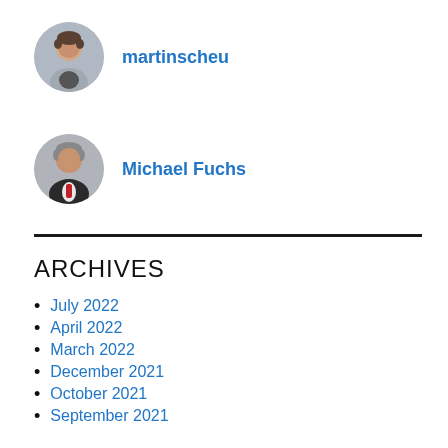[Figure (photo): Round avatar photo of martinscheu, a young man with dark hair]
martinscheu
[Figure (photo): Round avatar photo of Michael Fuchs, a middle-aged man in a suit]
Michael Fuchs
ARCHIVES
July 2022
April 2022
March 2022
December 2021
October 2021
September 2021